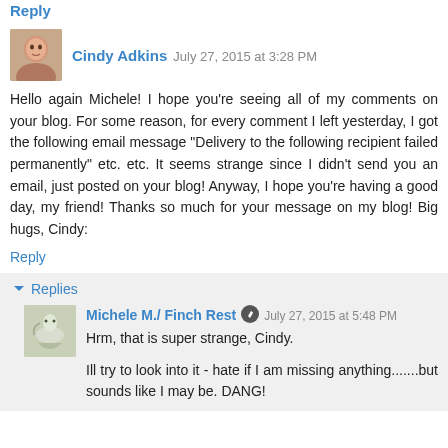Reply
Cindy Adkins  July 27, 2015 at 3:28 PM
Hello again Michele! I hope you're seeing all of my comments on your blog. For some reason, for every comment I left yesterday, I got the following email message "Delivery to the following recipient failed permanently" etc. etc. It seems strange since I didn't send you an email, just posted on your blog! Anyway, I hope you're having a good day, my friend! Thanks so much for your message on my blog! Big hugs, Cindy:
Reply
Replies
Michele M./ Finch Rest  July 27, 2015 at 5:48 PM
Hrm, that is super strange, Cindy.
Ill try to look into it - hate if I am missing anything.......but sounds like I may be. DANG!